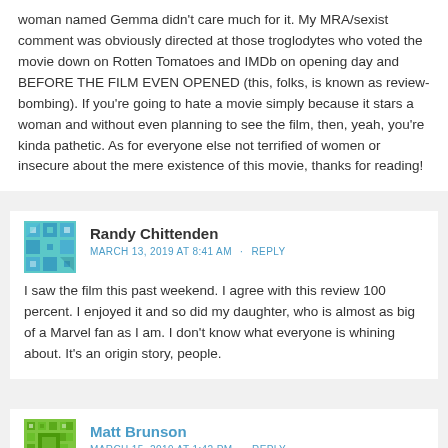woman named Gemma didn't care much for it. My MRA/sexist comment was obviously directed at those troglodytes who voted the movie down on Rotten Tomatoes and IMDb on opening day and BEFORE THE FILM EVEN OPENED (this, folks, is known as review-bombing). If you're going to hate a movie simply because it stars a woman and without even planning to see the film, then, yeah, you're kinda pathetic. As for everyone else not terrified of women or insecure about the mere existence of this movie, thanks for reading!
Randy Chittenden
MARCH 13, 2019 AT 8:41 AM · REPLY
I saw the film this past weekend. I agree with this review 100 percent. I enjoyed it and so did my daughter, who is almost as big of a Marvel fan as I am. I don't know what everyone is whining about. It's an origin story, people.
Matt Brunson
MARCH 15, 2019 AT 1:42 PM · REPLY